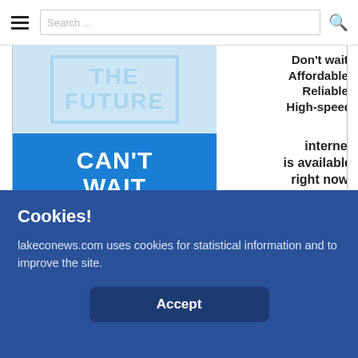Search...
[Figure (advertisement): North Coast Internet advertisement: 'THE FUTURE CAN'T WAIT' with blue blocks, text 'Don't wait. Affordable, Reliable, High-speed internet is available right now. To get connected, call 707 621-8800 www.northcoastnet.com North Coast Internet']
[Figure (advertisement): Now Hiring! advertisement with green logo]
Cookies!
lakeconews.com uses cookies for statistical information and to improve the site.
Accept